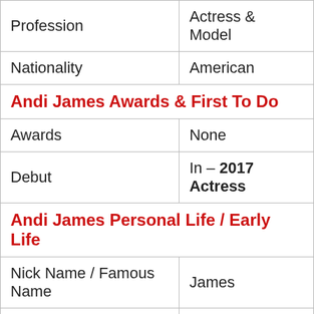| Profession | Actress & Model |
| Nationality | American |
| Andi James Awards & First To Do |  |
| Awards | None |
| Debut | In – 2017 Actress |
| Andi James Personal Life / Early Life |  |
| Nick Name / Famous Name | James |
| Gender | Female |